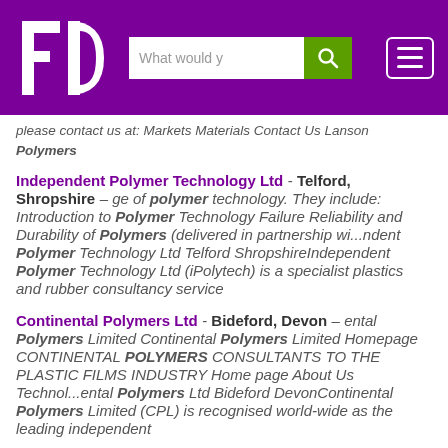[Figure (logo): FD logo — white letters F and D on purple background]
please contact us at: Markets Materials Contact Us Lanson Polymers
Independent Polymer Technology Ltd - Telford, Shropshire – ge of polymer technology. They include: Introduction to Polymer Technology Failure Reliability and Durability of Polymers (delivered in partnership wi...ndent Polymer Technology Ltd Telford ShropshireIndependent Polymer Technology Ltd (iPolytech) is a specialist plastics and rubber consultancy service
Continental Polymers Ltd - Bideford, Devon – ental Polymers Limited Continental Polymers Limited Homepage CONTINENTAL POLYMERS CONSULTANTS TO THE PLASTIC FILMS INDUSTRY Home page About Us Technol...ental Polymers Ltd Bideford DevonContinental Polymers Limited (CPL) is recognised world-wide as the leading independent consultant and the foremost...